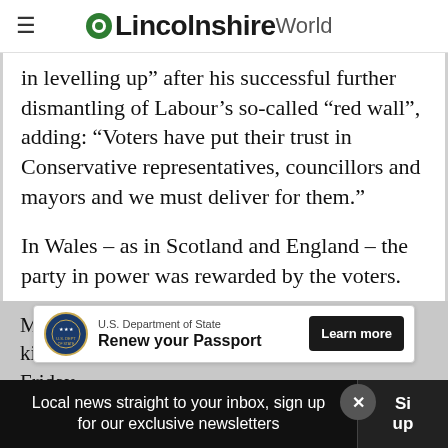Lincolnshire World
in levelling up” after his successful further dismantling of Labour’s so-called “red wall”, adding: “Voters have put their trust in Conservative representatives, councillors and mayors and we must deliver for them.”
In Wales – as in Scotland and England – the party in power was rewarded by the voters.
Ma... kin... on Friday.
[Figure (screenshot): Advertisement banner: U.S. Department of State - Renew your Passport - Learn more button]
Local news straight to your inbox, sign up for our exclusive newsletters